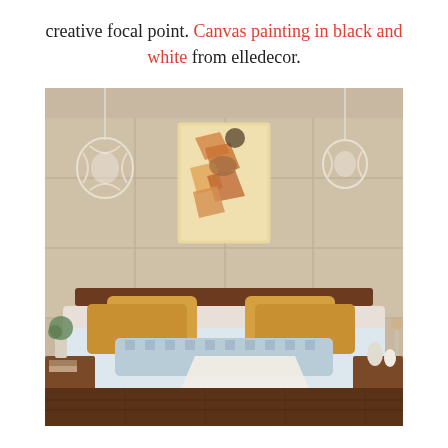creative focal point. Canvas painting in black and white from elledecor.
[Figure (photo): A stylish mid-century modern bedroom with a padded beige headboard wall, a colorful abstract canvas painting hung above the bed, two decorative pendant globe lights on either side, golden/mustard yellow pillows, a light blue textured bolster pillow, a light blue/white bedspread with a white fringed throw blanket, wooden nightstands with plants and decorative objects, and a dark hardwood floor.]